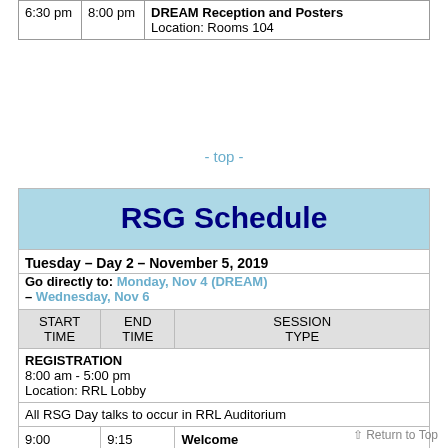| START TIME | END TIME | SESSION TYPE |
| --- | --- | --- |
| 6:30 pm | 8:00 pm | DREAM Reception and Posters
Location: Rooms 104 |
- top -
RSG Schedule
| START TIME | END TIME | SESSION TYPE |
| --- | --- | --- |
| Tuesday – Day 2 – November 5, 2019 |  |  |
| Go directly to: Monday, Nov 4 (DREAM) – Wednesday, Nov 6 |  |  |
| START TIME | END TIME | SESSION TYPE |
| REGISTRATION
8:00 am - 5:00 pm
Location: RRL Lobby |  |  |
| All RSG Day talks to occur in RRL Auditorium |  |  |
| 9:00 am | 9:15 am | Welcome |
| Special Session on Cancer Systems Biology
Chair: Christina Leslie |  |  |
| 9:15 am | 10:00 am | Keynote  - Sohrab Shah |